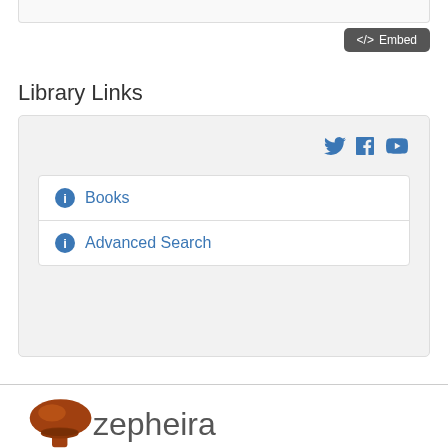[Figure (screenshot): Top portion of a gray rounded box, partially cut off at the top of the page]
[Figure (screenshot): Dark gray Embed button with code bracket icon and text 'Embed']
Library Links
[Figure (screenshot): Light gray box containing social media icons (Twitter, Facebook, YouTube) and a white inner box with two list items: 'Books' and 'Advanced Search', each preceded by a blue info icon]
Books
Advanced Search
[Figure (logo): Zepheira logo: brown mushroom-shaped icon followed by the text 'zepheira' in gray]